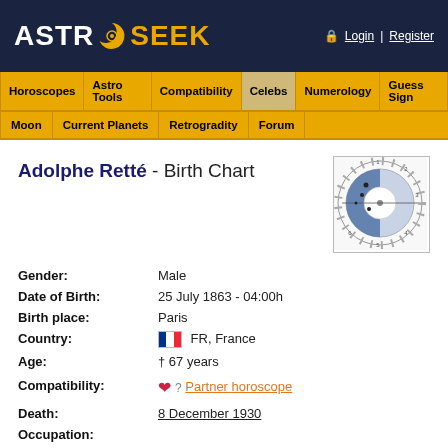ASTRO SEEK - Login | Register
Horoscopes | Astro Tools | Compatibility | Celebs | Numerology | Guess Sign
Moon | Current Planets | Retrogradity | Forum
Adolphe Retté - Birth Chart
[Figure (other): Circular astrological birth chart thumbnail with blue and white sections and astrological symbols]
| Gender: | Male |
| Date of Birth: | 25 July 1863 - 04:00h |
| Birth place: | Paris |
| Country: | FR, France |
| Age: | † 67 years |
| Compatibility: | Partner horoscope |
| Death: | 8 December 1930 |
| Occupation: |  |